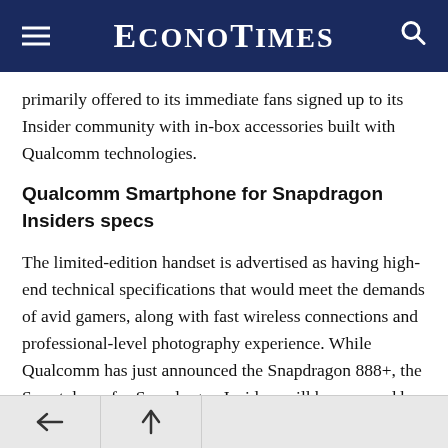EconoTimes
primarily offered to its immediate fans signed up to its Insider community with in-box accessories built with Qualcomm technologies.
Qualcomm Smartphone for Snapdragon Insiders specs
The limited-edition handset is advertised as having high-end technical specifications that would meet the demands of avid gamers, along with fast wireless connections and professional-level photography experience. While Qualcomm has just announced the Snapdragon 888+, the Smartphone for Snapdragon Insiders will be powered by its standard version that launched late last year. But the chipmaker promises the SoC will still deliver “truly global 5G,” and the device will